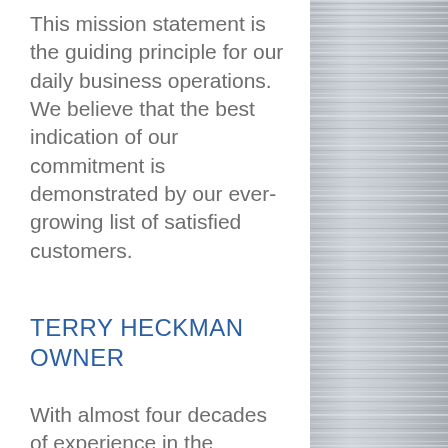This mission statement is the guiding principle for our daily business operations. We believe that the best indication of our commitment is demonstrated by our ever-growing list of satisfied customers.
TERRY HECKMAN OWNER
With almost four decades of experience in the Commercial and Industrial Heating and Air Conditioning field, Terry
[Figure (photo): Brushed metal / steel texture panel on the right side of the page]